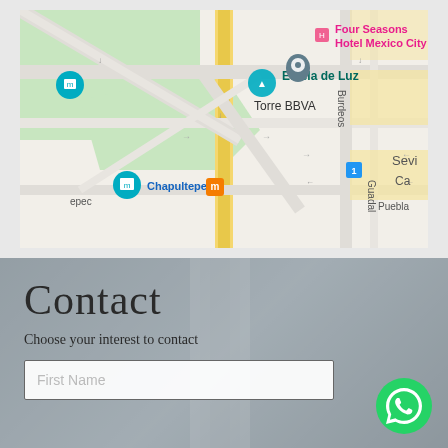[Figure (map): Google Maps screenshot showing Mexico City area near Chapultepec metro station, Torre BBVA, Estela de Luz, and Four Seasons Hotel Mexico City. Streets include Burdeos, Guadal, and Puebla. Various map pins and labels are visible.]
Contact
Choose your interest to contact
[Figure (other): First Name input text field (white/light background, empty with placeholder text 'First Name')]
[Figure (other): WhatsApp button - green circular icon with phone/WhatsApp logo]